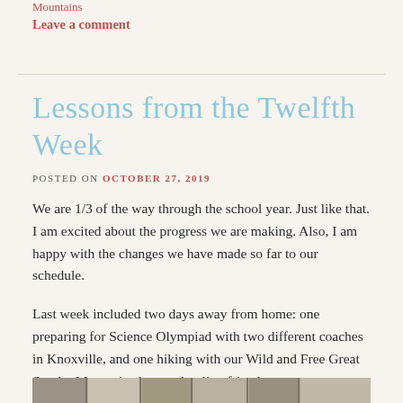Mountains
Leave a comment
Lessons from the Twelfth Week
POSTED ON OCTOBER 27, 2019
We are 1/3 of the way through the school year. Just like that. I am excited about the progress we are making. Also, I am happy with the changes we have made so far to our schedule.
Last week included two days away from home: one preparing for Science Olympiad with two different coaches in Knoxville, and one hiking with our Wild and Free Great Smoky Mountains homeschooling friends.
[Figure (photo): A horizontal photo strip partially visible at the bottom of the page, showing outdoor/hiking scenes.]